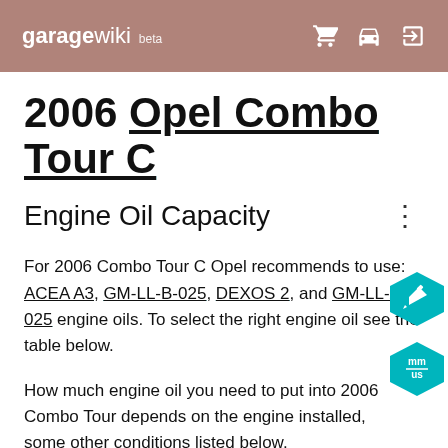garagewiki beta
2006 Opel Combo Tour C
Engine Oil Capacity
For 2006 Combo Tour C Opel recommends to use: ACEA A3, GM-LL-B-025, DEXOS 2, and GM-LL-A-025 engine oils. To select the right engine oil see the table below.
How much engine oil you need to put into 2006 Combo Tour depends on the engine installed, and some other conditions listed below.